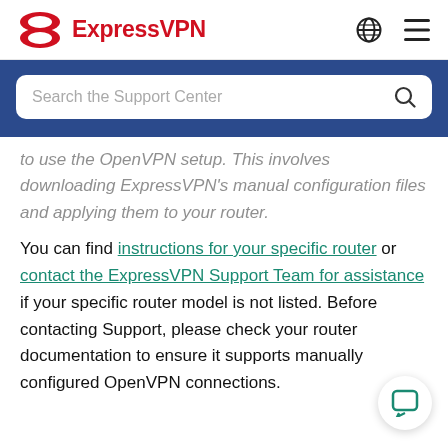ExpressVPN
Search the Support Center
to use the OpenVPN setup. This involves downloading ExpressVPN's manual configuration files and applying them to your router.
You can find instructions for your specific router or contact the ExpressVPN Support Team for assistance if your specific router model is not listed. Before contacting Support, please check your router documentation to ensure it supports manually configured OpenVPN connections.